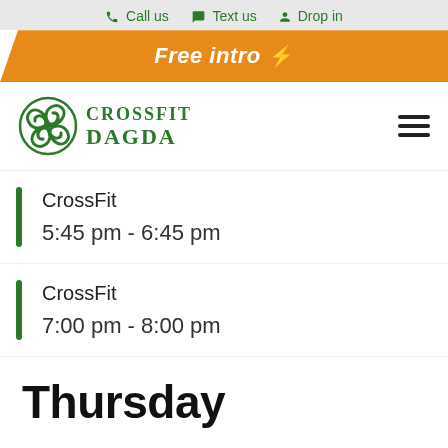Call us  Text us  Drop in
Free intro ⚡
[Figure (logo): CrossFit Dagda logo with green Celtic knot symbol and green text]
CrossFit
5:45 pm - 6:45 pm
CrossFit
7:00 pm - 8:00 pm
Thursday